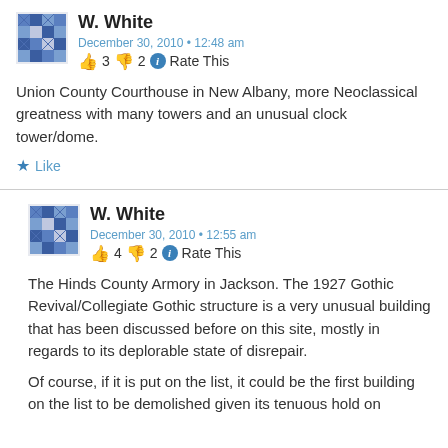[Figure (illustration): User avatar for W. White - blue geometric/quilt pattern avatar]
W. White
December 30, 2010 • 12:48 am
👍 3 👎 2 ℹ Rate This
Union County Courthouse in New Albany, more Neoclassical greatness with many towers and an unusual clock tower/dome.
★ Like
[Figure (illustration): User avatar for W. White - blue geometric/quilt pattern avatar]
W. White
December 30, 2010 • 12:55 am
👍 4 👎 2 ℹ Rate This
The Hinds County Armory in Jackson. The 1927 Gothic Revival/Collegiate Gothic structure is a very unusual building that has been discussed before on this site, mostly in regards to its deplorable state of disrepair.
Of course, if it is put on the list, it could be the first building on the list to be demolished given its tenuous hold on